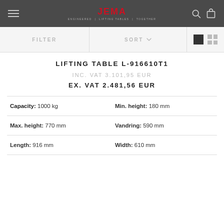JEMA — ENGINEERED | LIFTING TABLES | TOGETHER
LIFTING TABLE L-916610T1
INC. VAT 3.101,95 EUR
EX. VAT 2.481,56 EUR
| Spec | Value | Spec | Value |
| --- | --- | --- | --- |
| Capacity: | 1000 kg | Min. height: | 180 mm |
| Max. height: | 770 mm | Vandring: | 590 mm |
| Length: | 916 mm | Width: | 610 mm |